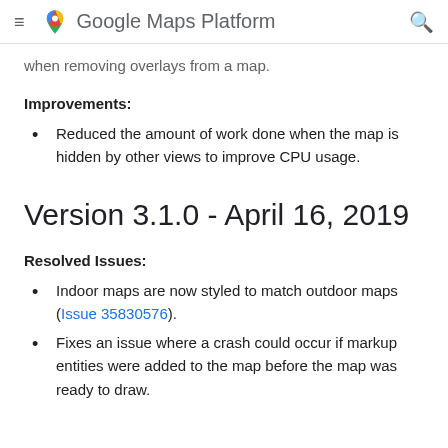Google Maps Platform
when removing overlays from a map.
Improvements:
Reduced the amount of work done when the map is hidden by other views to improve CPU usage.
Version 3.1.0 - April 16, 2019
Resolved Issues:
Indoor maps are now styled to match outdoor maps (Issue 35830576).
Fixes an issue where a crash could occur if markup entities were added to the map before the map was ready to draw.